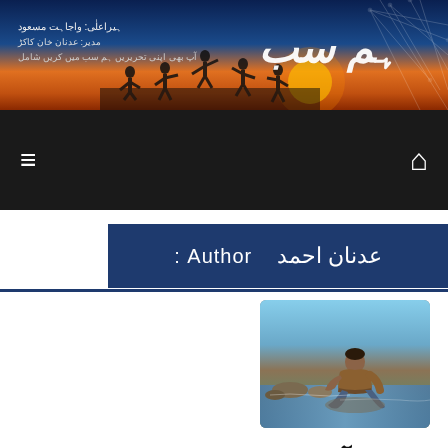[Figure (screenshot): Website header banner with Urdu text, title 'ہم سب', and silhouette of people against sunset sky background. Urdu text on left includes editor and contributor names.]
[Figure (screenshot): Dark navigation bar with hamburger menu icon on left and home icon on right]
Author: عدنان احمد
[Figure (photo): Photo of a man sitting near a river or water body, outdoors on rocky ground]
جشن آزادی کے موقع پر ایک کافر کا قتل
17/08/2022